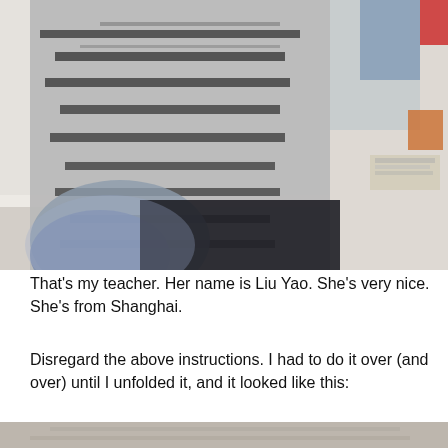[Figure (photo): A blurry close-up photo of a person wearing a grey and black striped sweater, taken in a room with white walls and carpet. A mirror reflection is partially visible in the upper right corner showing another person. Some items are visible on a surface in the right background.]
That's my teacher. Her name is Liu Yao. She's very nice. She's from Shanghai.
Disregard the above instructions. I had to do it over (and over) until I unfolded it, and it looked like this:
[Figure (photo): Bottom portion of a second photo, showing the beginning of another image — appears to show a floor or surface, partially visible at the bottom of the page.]